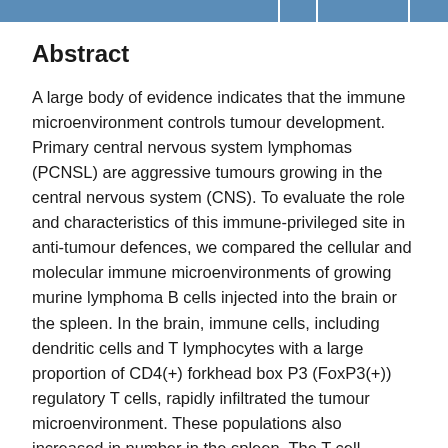Abstract
A large body of evidence indicates that the immune microenvironment controls tumour development. Primary central nervous system lymphomas (PCNSL) are aggressive tumours growing in the central nervous system (CNS). To evaluate the role and characteristics of this immune-privileged site in anti-tumour defences, we compared the cellular and molecular immune microenvironments of growing murine lymphoma B cells injected into the brain or the spleen. In the brain, immune cells, including dendritic cells and T lymphocytes with a large proportion of CD4(+) forkhead box P3 (FoxP3(+)) regulatory T cells, rapidly infiltrated the tumour microenvironment. These populations also increased in number in the spleen. The T cell cytokine profiles in tumour-bearing mice were similar in the two sites, with